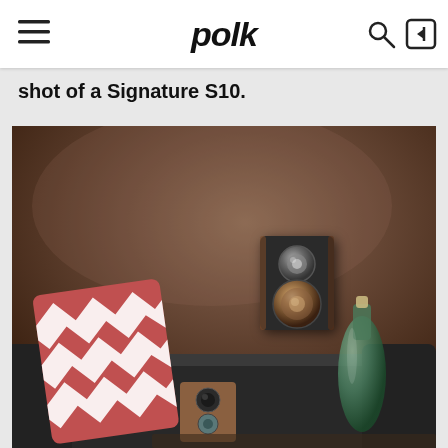polk
shot of a Signature S10.
[Figure (photo): A product lifestyle photo showing a Polk Audio Signature S10 speaker mounted on a dark brown wall, with a dark sofa visible at the bottom, a chevron-patterned red and white pillow, a green glass bottle on the right side, and a small speaker/camera on a table.]